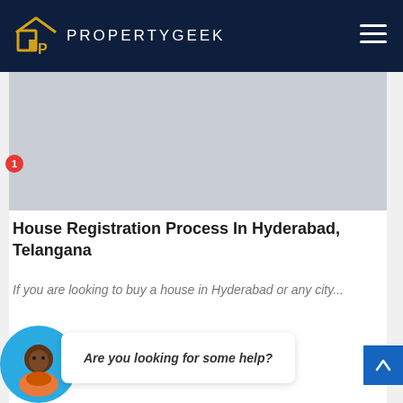PROPERTYGEEK
[Figure (photo): Grey placeholder image for article thumbnail]
House Registration Process In Hyderabad, Telangana
If you are looking to buy a house in Hyderabad or any city...
[Figure (illustration): Chat support widget with avatar and speech bubble saying: Are you looking for some help?]